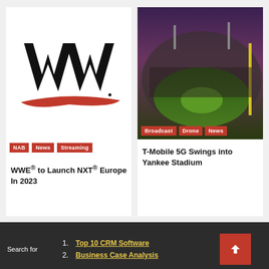[Figure (logo): WWE logo - black W with red swoosh underneath]
NAB
News
Streaming
WWE® to Launch NXT® Europe In 2023
[Figure (photo): Aerial view of Yankee Stadium baseball field at dusk with stadium lights and full crowd]
Broadcast
Drone
News
T-Mobile 5G Swings into Yankee Stadium
Search for
1. Top 10 CRM Software
2. Business Case Analysis